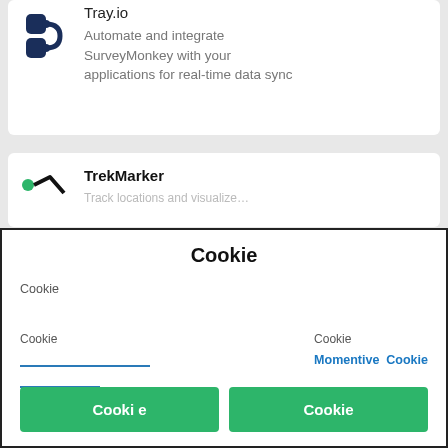[Figure (logo): Tray.io logo - dark blue stylized chain link icon]
Tray.io
Automate and integrate SurveyMonkey with your applications for real-time data sync
[Figure (logo): TrekMarker logo - green dot with black path/route icon]
TrekMarker
Cookie
Cookie
Cookie
Cookie
Momentive Cookie
Cookie
Cookie